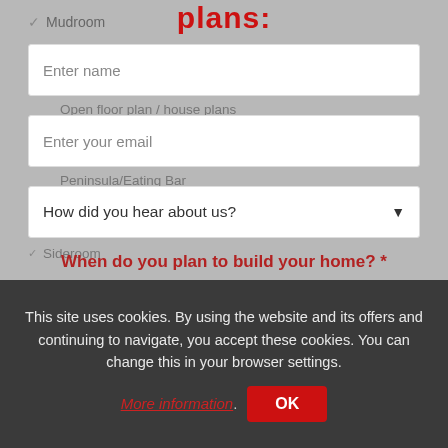plans:
✓ Mudroom
Enter name
Open floor plan / house plans (partially obscured)
Enter your email
Peninsula/Eating Bar (partially obscured)
How did you hear about us?
Sideroom (partially obscured)
When do you plan to build your home? *
Split Bedroom Bonus (partially obscured)
Choose one
✓ Walk-in Closet
Phone Number *
Enter phone number
Sign up for Text Alerts
This site uses cookies. By using the website and its offers and continuing to navigate, you accept these cookies. You can change this in your browser settings.
More information. OK